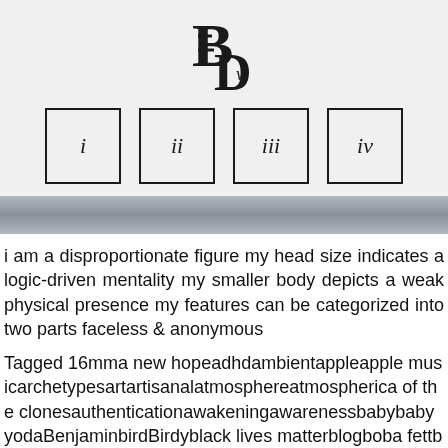[Figure (logo): Stylized logo with overlapping B and D letters with a small v, dark on light background]
[Figure (other): Four bordered boxes containing roman numerals: i, ii, iii, iv used as navigation elements]
[Figure (other): Horizontal gradient band divider, grey/silver tone]
i am a disproportionate figure my head size indicates a logic-driven mentality my smaller body depicts a weak physical presence my features can be categorized into two parts faceless & anonymous
Tagged 16mma new hopeadhdambientappleapple musicarchetypesartartisanalatmosphereatmospherica of the clonesauthenticationawakeningawarenessbabybaby yodaBenjaminbirdBirdyblack lives matterblogboba fettbpdbrattybrdbrdbrdycanadachangecinematicicolo vadordoitydetectiondevelopingdiagnosisDickersand Di